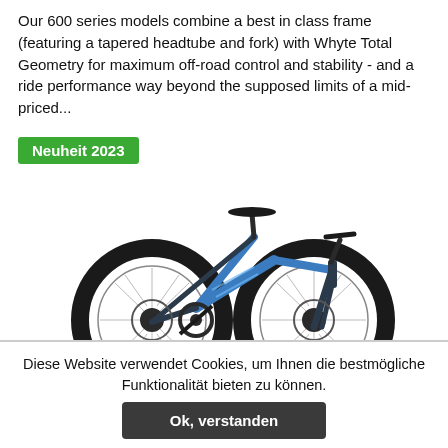Our 600 series models combine a best in class frame (featuring a tapered headtube and fork) with Whyte Total Geometry for maximum off-road control and stability - and a ride performance way beyond the supposed limits of a mid-priced...
Neuheit 2023
[Figure (photo): Blue hardtail mountain bike with wide tires and disc brakes, shown in side profile against a white background.]
Diese Website verwendet Cookies, um Ihnen die bestmögliche Funktionalität bieten zu können.
Ok, verstanden